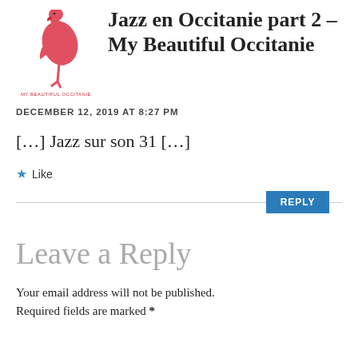[Figure (logo): Red flamingo logo with text 'MY BEAUTIFUL OCCITANIE' below it]
Jazz en Occitanie part 2 – My Beautiful Occitanie
DECEMBER 12, 2019 AT 8:27 PM
[...] Jazz sur son 31 [...]
★ Like
REPLY
Leave a Reply
Your email address will not be published. Required fields are marked *